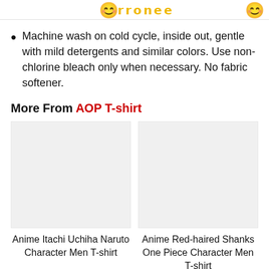Machine wash on cold cycle, inside out, gentle with mild detergents and similar colors. Use non-chlorine bleach only when necessary. No fabric softener.
More From AOP T-shirt
[Figure (photo): Placeholder product image for Anime Itachi Uchiha Naruto Character Men T-shirt]
Anime Itachi Uchiha Naruto Character Men T-shirt
[Figure (photo): Placeholder product image for Anime Red-haired Shanks One Piece Character Men T-shirt]
Anime Red-haired Shanks One Piece Character Men T-shirt